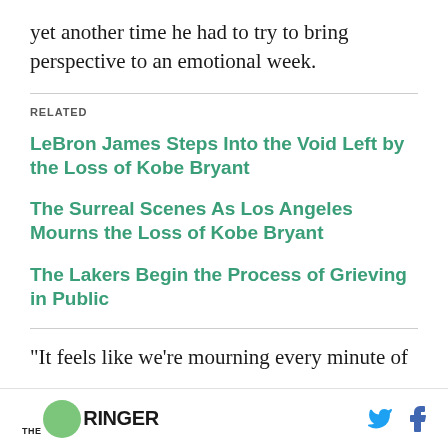yet another time he had to try to bring perspective to an emotional week.
RELATED
LeBron James Steps Into the Void Left by the Loss of Kobe Bryant
The Surreal Scenes As Los Angeles Mourns the Loss of Kobe Bryant
The Lakers Begin the Process of Grieving in Public
“It feels like we’re mourning every minute of
THE RINGER